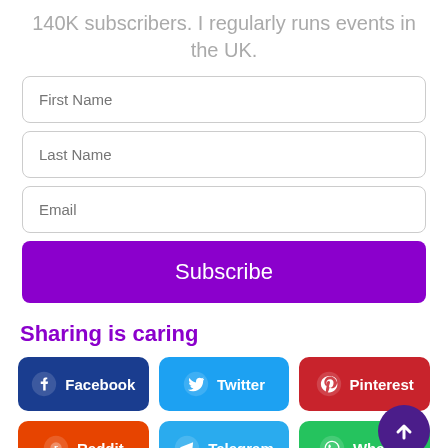140K subscribers. I regularly runs events in the UK.
[Figure (screenshot): Web form with First Name, Last Name, Email fields and a purple Subscribe button]
Sharing is caring
[Figure (infographic): Social sharing buttons: Facebook (dark blue), Twitter (blue), Pinterest (red), Reddit (orange), Telegram (light blue), WhatsApp (green)]